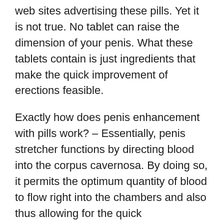web sites advertising these pills. Yet it is not true. No tablet can raise the dimension of your penis. What these tablets contain is just ingredients that make the quick improvement of erections feasible.
Exactly how does penis enhancement with pills work? – Essentially, penis stretcher functions by directing blood into the corpus cavernosa. By doing so, it permits the optimum quantity of blood to flow right into the chambers and also thus allowing for the quick enhancement of erections. But does penis stretcher work at all? On the occasion that you pick the very best passion rx active ingredients planned of prick cots, then indeed, it will.